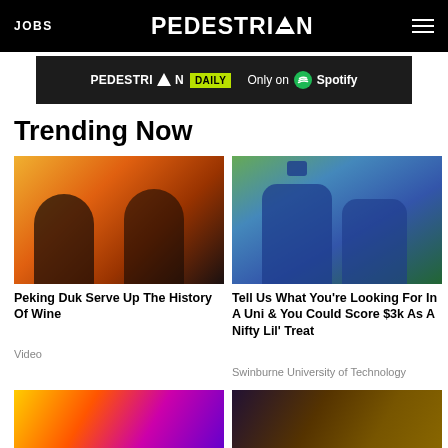JOBS | PEDESTRIAN | menu
[Figure (screenshot): PEDESTRIAN DAILY — Only on Spotify banner advertisement]
Trending Now
[Figure (photo): Peking Duk — two men against fiery background]
Peking Duk Serve Up The History Of Wine
Video
[Figure (photo): Graduates in blue gowns and caps celebrating outdoors]
Tell Us What You're Looking For In A Uni & You Could Score $3k As A Nifty Lil' Treat
Swinburne University of Technology
[Figure (photo): Next 69 drag show promotional image with performer]
[Figure (photo): Outdoor music festival night crowd scene]